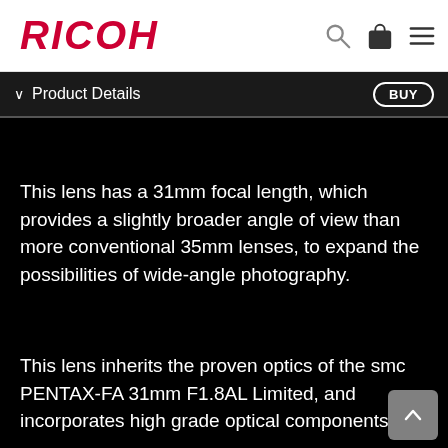RICOH
Product Details
[Figure (other): Black background image area for product photo]
This lens has a 31mm focal length, which provides a slightly broader angle of view than more conventional 35mm lenses, to expand the possibilities of wide-angle photography.
This lens inherits the proven optics of the smc PENTAX-FA 31mm F1.8AL Limited, and incorporates high grade optical components